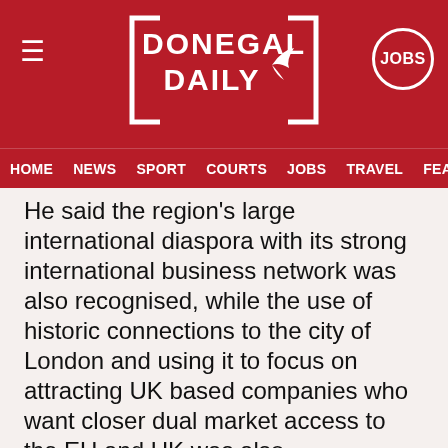DONEGAL DAILY
HOME  NEWS  SPORT  COURTS  JOBS  TRAVEL  FEATU
He said the region's large international diaspora with its strong international business network was also recognised, while the use of historic connections to the city of London and using it to focus on attracting UK based companies who want closer dual market access to the EU and UK was also acknowledged.
He said: “This is a very significant coup for us and comes at a very exciting time in our City Deal journey and as we are recovering from the COVID pandemic and working proactively